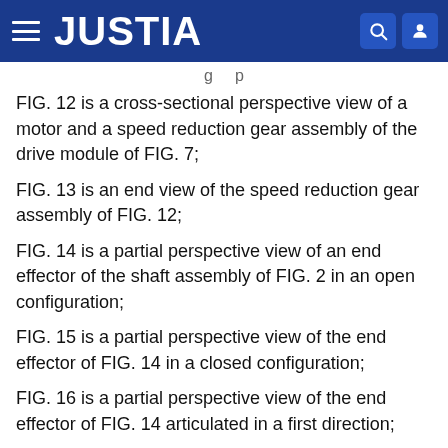JUSTIA
FIG. 12 is a cross-sectional perspective view of a motor and a speed reduction gear assembly of the drive module of FIG. 7;
FIG. 13 is an end view of the speed reduction gear assembly of FIG. 12;
FIG. 14 is a partial perspective view of an end effector of the shaft assembly of FIG. 2 in an open configuration;
FIG. 15 is a partial perspective view of the end effector of FIG. 14 in a closed configuration;
FIG. 16 is a partial perspective view of the end effector of FIG. 14 articulated in a first direction;
FIG. 17 is a partial perspective view of the end effector of FIG. 14 articulated in a second direction;